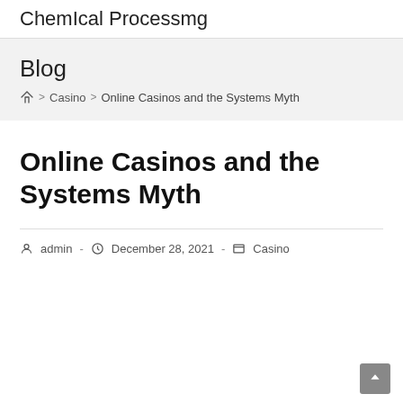Chemical Processing
Blog
Home > Casino > Online Casinos and the Systems Myth
Online Casinos and the Systems Myth
admin - December 28, 2021 - Casino